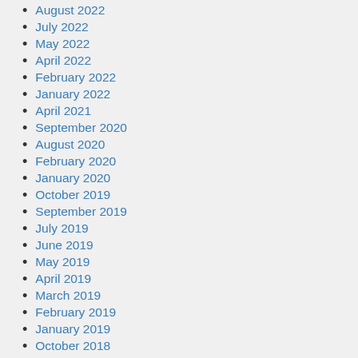August 2022
July 2022
May 2022
April 2022
February 2022
January 2022
April 2021
September 2020
August 2020
February 2020
January 2020
October 2019
September 2019
July 2019
June 2019
May 2019
April 2019
March 2019
February 2019
January 2019
October 2018